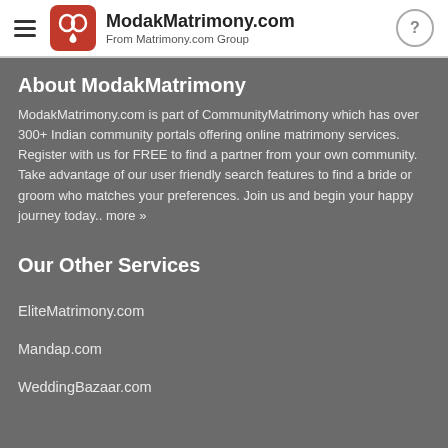ModakMatrimony.com From Matrimony.com Group
About ModakMatrimony
ModakMatrimony.com is part of CommunityMatrimony which has over 300+ Indian community portals offering online matrimony services. Register with us for FREE to find a partner from your own community. Take advantage of our user friendly search features to find a bride or groom who matches your preferences. Join us and begin your happy journey today.. more »
Our Other Services
EliteMatrimony.com
Mandap.com
WeddingBazaar.com